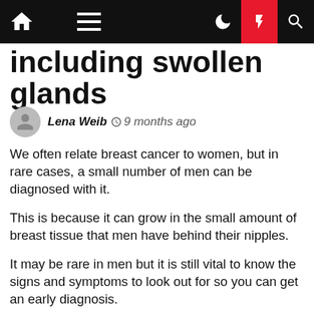including swollen glands
Lena Weib · 9 months ago
We often relate breast cancer to women, but in rare cases, a small number of men can be diagnosed with it.
This is because it can grow in the small amount of breast tissue that men have behind their nipples.
It may be rare in men but it is still vital to know the signs and symptoms to look out for so you can get an early diagnosis.
Read more: Health news
Breast cancer in men typically occurs in those over 60, but can "very occasionally affect younger men"